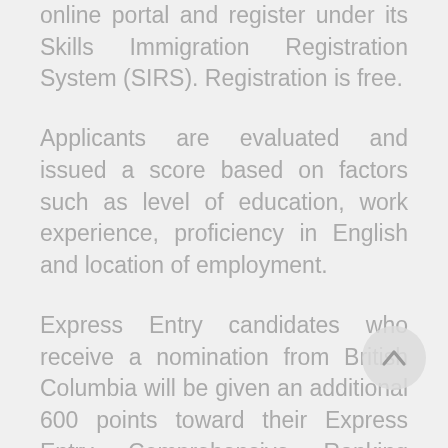online portal and register under its Skills Immigration Registration System (SIRS). Registration is free.
Applicants are evaluated and issued a score based on factors such as level of education, work experience, proficiency in English and location of employment.
Express Entry candidates who receive a nomination from British Columbia will be given an additional 600 points toward their Express Entry Comprehensive Ranking System (CRS) score and are effectively guaranteed an ITA in a future federal Express Entry draw.